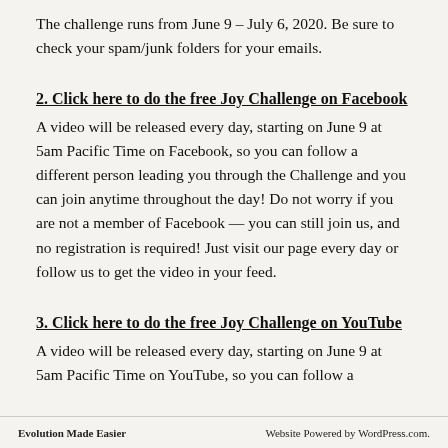The challenge runs from June 9 – July 6, 2020. Be sure to check your spam/junk folders for your emails.
2. Click here to do the free Joy Challenge on Facebook
A video will be released every day, starting on June 9 at 5am Pacific Time on Facebook, so you can follow a different person leading you through the Challenge and you can join anytime throughout the day! Do not worry if you are not a member of Facebook — you can still join us, and no registration is required! Just visit our page every day or follow us to get the video in your feed.
3. Click here to do the free Joy Challenge on YouTube
A video will be released every day, starting on June 9 at 5am Pacific Time on YouTube, so you can follow a
Evolution Made Easier    Website Powered by WordPress.com.